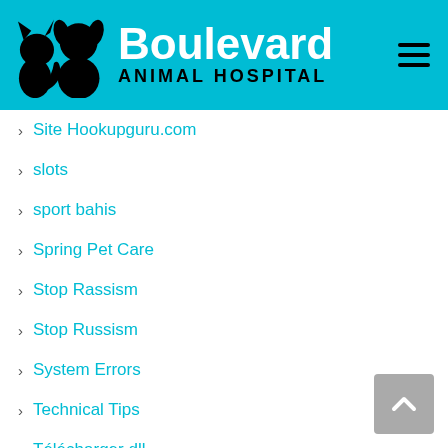[Figure (logo): Boulevard Animal Hospital logo with cat and dog silhouettes on teal/cyan background with hamburger menu icon]
Site Hookupguru.com
slots
sport bahis
Spring Pet Care
Stop Rassism
Stop Russism
System Errors
Technical Tips
Télécharger dll
Test1
The International Dating Site
Ukraine Ladies For Marriage
Uncategorized